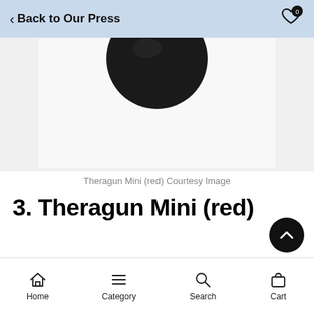Back to Our Press
[Figure (photo): Partial view of a black Theragun Mini device against a light gray background, showing the round massage head from above]
Theragun Mini (red) Courtesy Image
3. Theragun Mini (red)
Home  Category  Search  Cart